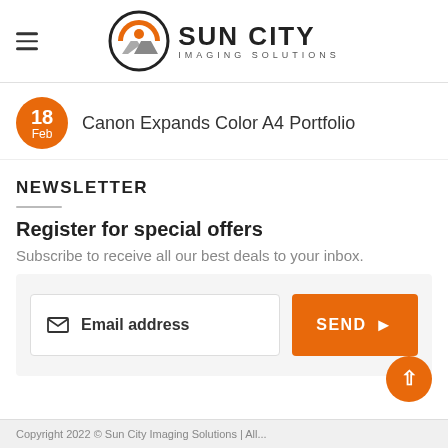[Figure (logo): Sun City Imaging Solutions logo — circular icon with orange sun and gray mountain peaks, next to bold text 'SUN CITY' with 'IMAGING SOLUTIONS' below]
Canon Expands Color A4 Portfolio
NEWSLETTER
Register for special offers
Subscribe to receive all our best deals to your inbox.
Email address  SEND ▶
Copyright 2022 © Sun City Imaging Solutions | All...